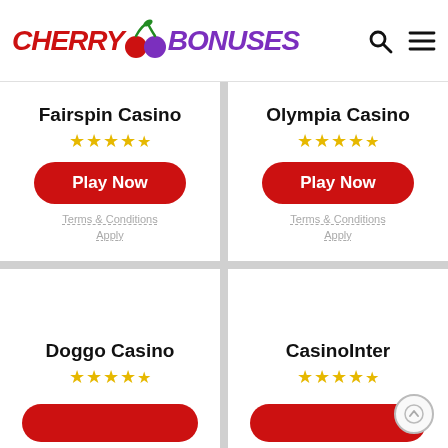[Figure (logo): CherryBonuses logo with red CHERRY text, cherry icon, and purple BONUSES text]
Fairspin Casino ★★★★½
Play Now
Terms & Conditions Apply
Olympia Casino ★★★★½
Play Now
Terms & Conditions Apply
Doggo Casino ★★★★½
CasinoInter ★★★★½